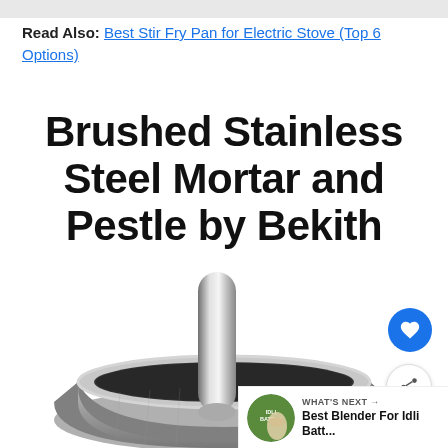Read Also: Best Stir Fry Pan for Electric Stove (Top 6 Options)
Brushed Stainless Steel Mortar and Pestle by Bekith
[Figure (photo): A brushed stainless steel mortar and pestle product photo showing the mortar bowl and pestle, partially visible from bottom of frame]
WHAT'S NEXT → Best Blender For Idli Batt...